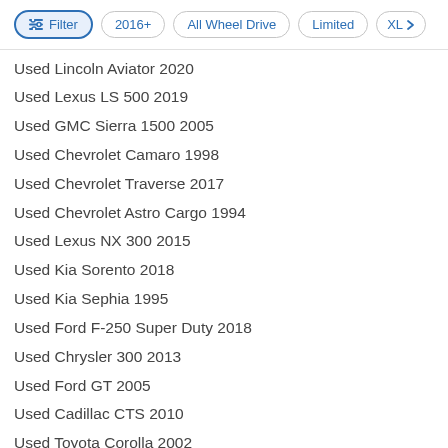Filter | 2016+ | All Wheel Drive | Limited | XL>
Used Lincoln Aviator 2020
Used Lexus LS 500 2019
Used GMC Sierra 1500 2005
Used Chevrolet Camaro 1998
Used Chevrolet Traverse 2017
Used Chevrolet Astro Cargo 1994
Used Lexus NX 300 2015
Used Kia Sorento 2018
Used Kia Sephia 1995
Used Ford F-250 Super Duty 2018
Used Chrysler 300 2013
Used Ford GT 2005
Used Cadillac CTS 2010
Used Toyota Corolla 2002
Used BMW X4 2019
Used Nissan Murano 2019